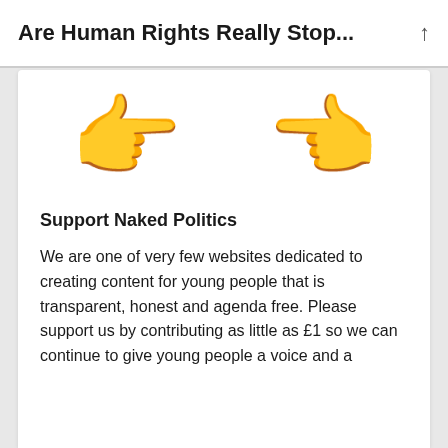Are Human Rights Really Stop...
[Figure (illustration): Two pointing finger emojis facing each other (left-pointing and right-pointing backhand index finger emojis in yellow/skin tone)]
Support Naked Politics
We are one of very few websites dedicated to creating content for young people that is transparent, honest and agenda free. Please support us by contributing as little as £1 so we can continue to give young people a voice and a